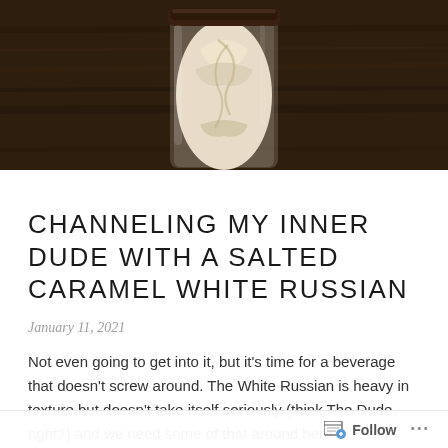[Figure (photo): Close-up photo of a White Russian cocktail in a glass with whipped cream or ice cream on top, set against a dark wooden background]
CHANNELING MY INNER DUDE WITH A SALTED CARAMEL WHITE RUSSIAN
January 11, 2021
Not even going to get into it, but it’s time for a beverage that doesn’t screw around. The White Russian is heavy in texture but doesn’t take itself seriously (think The Dude, right?) and we need some of that around here.
Typical White Russians are sugary fat bombs: they’re